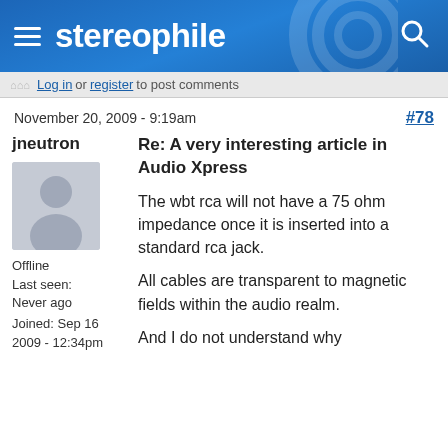stereophile
Log in or register to post comments
November 20, 2009 - 9:19am  #78
jneutron
[Figure (illustration): Default user avatar — grey silhouette of a person on light grey background]
Offline
Last seen:
Never ago
Joined: Sep 16 2009 - 12:34pm
Re: A very interesting article in Audio Xpress
The wbt rca will not have a 75 ohm impedance once it is inserted into a standard rca jack.
All cables are transparent to magnetic fields within the audio realm.
And I do not understand why